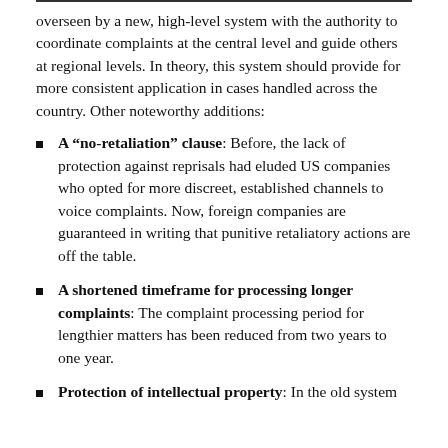overseen by a new, high-level system with the authority to coordinate complaints at the central level and guide others at regional levels. In theory, this system should provide for more consistent application in cases handled across the country. Other noteworthy additions:
A "no-retaliation" clause: Before, the lack of protection against reprisals had eluded US companies who opted for more discreet, established channels to voice complaints. Now, foreign companies are guaranteed in writing that punitive retaliatory actions are off the table.
A shortened timeframe for processing longer complaints: The complaint processing period for lengthier matters has been reduced from two years to one year.
Protection of intellectual property: In the old system